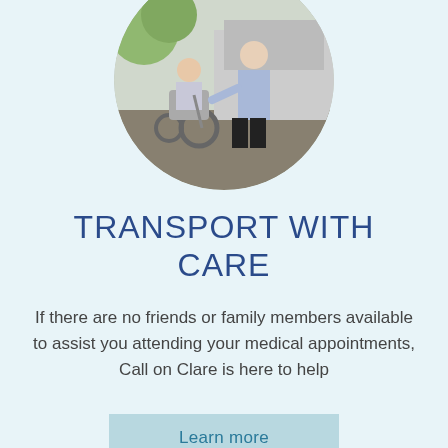[Figure (photo): Circular cropped photo of an elderly person in a wheelchair being assisted by a caregiver next to a car]
TRANSPORT WITH CARE
If there are no friends or family members available to assist you attending your medical appointments, Call on Clare is here to help
Learn more